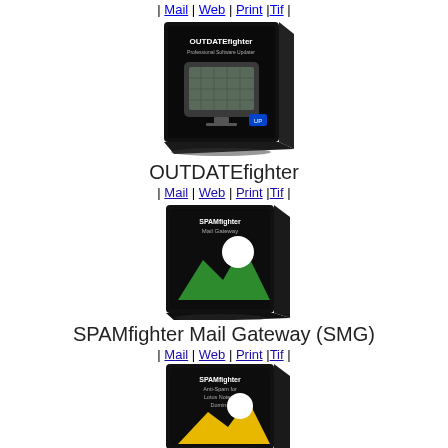| Mail | Web | Print |Tif |
[Figure (illustration): OUTDATEfighter software box - black box with old computer monitor icon]
OUTDATEfighter
| Mail | Web | Print |Tif |
[Figure (illustration): SPAMfighter Mail Gateway (SMG) software box - black box with green mountain and white circle icon]
SPAMfighter Mail Gateway (SMG)
| Mail | Web | Print |Tif |
[Figure (illustration): SPAMfighter Anti-Spam for Lotus Notes / Domino software box - black box with yellow mountain icon]